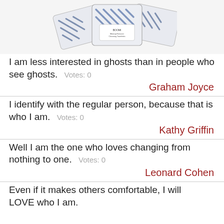[Figure (photo): Product image showing small square packets with blue chevron/herringbone pattern design, stacked and fanned out, with a label on one packet.]
I am less interested in ghosts than in people who see ghosts.  Votes: 0
Graham Joyce
I identify with the regular person, because that is who I am.  Votes: 0
Kathy Griffin
Well I am the one who loves changing from nothing to one.  Votes: 0
Leonard Cohen
Even if it makes others comfortable, I will LOVE who I am.